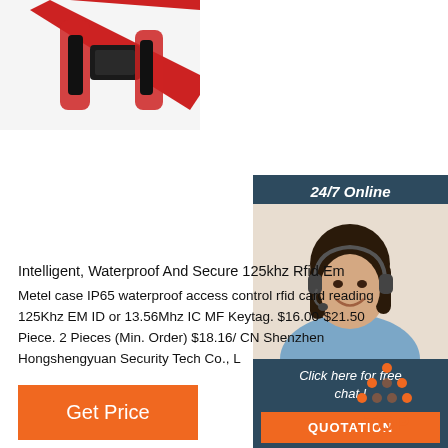[Figure (photo): Product photo showing red and black RFID access control device straps/bands]
[Figure (photo): 24/7 Online chat widget showing a smiling woman with headset, with 'Click here for free chat!' text and QUOTATION button]
Intelligent, Waterproof And Secure 125khz Rfid Em Metel case IP65 waterproof access control rfid card reading 125Khz EM ID or 13.56Mhz IC MF Keytag. $16.00-$21.50 Piece. 2 Pieces (Min. Order) $18.16/ CN Shenzhen Hongshengyuan Security Tech Co., L
[Figure (other): Get Price orange button]
[Figure (logo): TOP logo with orange dots arranged in triangle above orange text 'TOP']